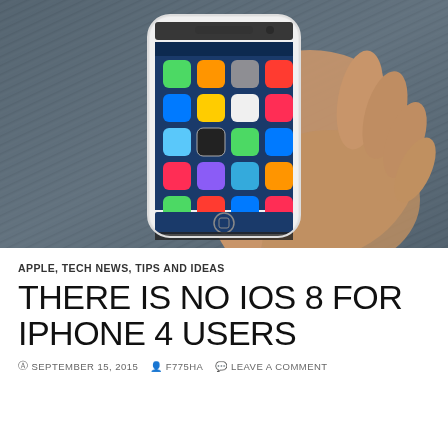[Figure (photo): Hand holding a white iPhone 5c displaying the iOS home screen with various app icons, against a dark fabric/textile background.]
APPLE, TECH NEWS, TIPS AND IDEAS
THERE IS NO IOS 8 FOR IPHONE 4 USERS
© SEPTEMBER 15, 2015   F775HA   LEAVE A COMMENT